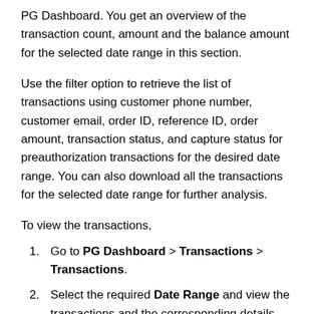PG Dashboard. You get an overview of the transaction count, amount and the balance amount for the selected date range in this section.
Use the filter option to retrieve the list of transactions using customer phone number, customer email, order ID, reference ID, order amount, transaction status, and capture status for preauthorization transactions for the desired date range. You can also download all the transactions for the selected date range for further analysis.
To view the transactions,
Go to PG Dashboard > Transactions > Transactions.
Select the required Date Range and view the transactions and the corresponding details.
To filter the transactions by a particular customer name, phone number and so on, click the Search By option and select the required parameter and click